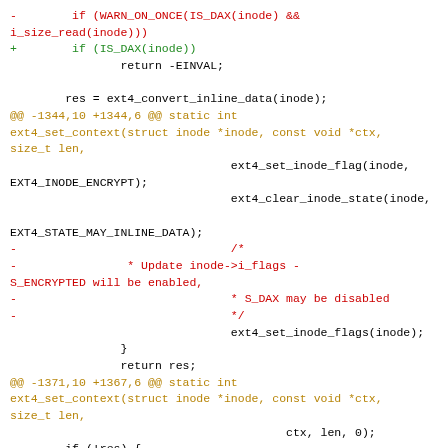Code diff showing changes to ext4 filesystem encryption context functions, including IS_DAX, ext4_convert_inline_data, ext4_set_context, ext4_set_inode_flag, ext4_clear_inode_state, ext4_set_inode_flags